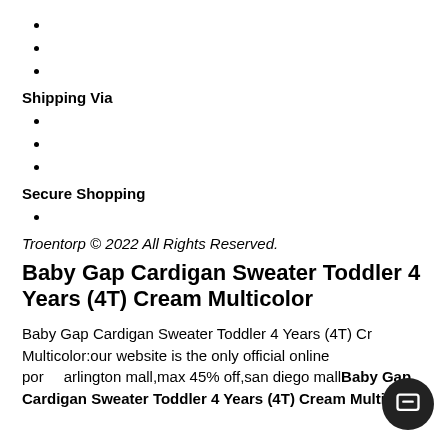Shipping Via
Secure Shopping
Troentorp © 2022 All Rights Reserved.
Baby Gap Cardigan Sweater Toddler 4 Years (4T) Cream Multicolor
Baby Gap Cardigan Sweater Toddler 4 Years (4T) Cream Multicolor:our website is the only official online portal,arlington mall,max 45% off,san diego mallBaby Gap Cardigan Sweater Toddler 4 Years (4T) Cream Multicolor